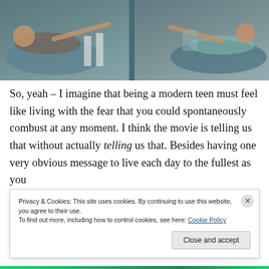[Figure (photo): A person lying in a hospital bed pointing at their reflection in glass, with medical staff visible in the background. Split scene showing the same person from two angles.]
So, yeah – I imagine that being a modern teen must feel like living with the fear that you could spontaneously combust at any moment. I think the movie is telling us that without actually telling us that. Besides having one very obvious message to live each day to the fullest as you
Privacy & Cookies: This site uses cookies. By continuing to use this website, you agree to their use.
To find out more, including how to control cookies, see here: Cookie Policy
Close and accept